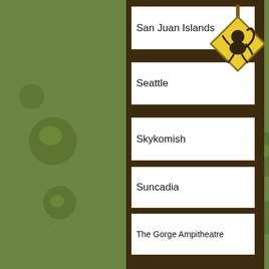San Juan Islands
Seattle
Skykomish
Suncadia
The Gorge Ampitheatre
Uncategorized
Whidbey Island
Tags
Bali Books Boston cabin